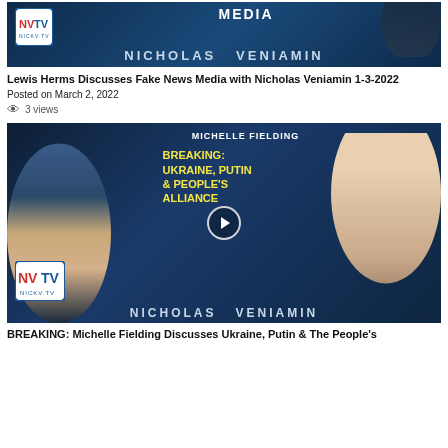[Figure (screenshot): NVTV Nicholas Veniamin video thumbnail with dark blue tech background showing MEDIA text and NICHOLAS VENIAMIN name]
Lewis Herms Discusses Fake News Media with Nicholas Veniamin 1-3-2022
Posted on March 2, 2022
3 views
[Figure (screenshot): NVTV Nicholas Veniamin video thumbnail featuring Michelle Fielding with text BREAKING: UKRAINE, PUTIN & PEOPLE'S ALLIANCE, showing two faces and play button]
BREAKING: Michelle Fielding Discusses Ukraine, Putin & The People's Alliance with Nicholas Veniamin 27-2-2022